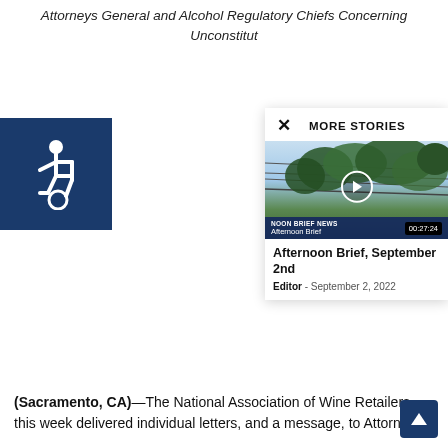Attorneys General and Alcohol Regulatory Chiefs Concerning Unconstitut
[Figure (screenshot): Accessibility icon (wheelchair symbol) on dark blue background]
MORE STORIES
[Figure (screenshot): Video thumbnail showing grapevine leaves against sky with power lines. Shows 'NOON BRIEF NEWS' and 'Afternoon Brief' label with duration 00:27:24 and a play button.]
Afternoon Brief, September 2nd
Editor - September 2, 2022
(Sacramento, CA)—The National Association of Wine Retailers this week delivered individual letters, and a message, to Attorneys